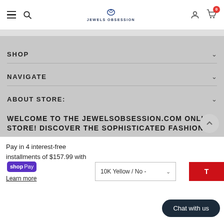Jewels Obsession — navigation header with hamburger, search, logo, user icon, cart (0)
SHOP
NAVIGATE
ABOUT STORE:
WELCOME TO THE JEWELSOBSESSION.COM ONLINE STORE! DISCOVER THE SOPHISTICATED FASHION
Pay in 4 interest-free installments of $157.99 with Shop Pay
Learn more
10K Yellow / No -
Chat with us